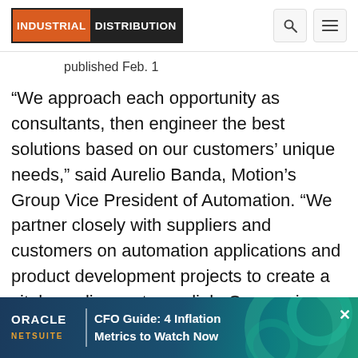INDUSTRIAL DISTRIBUTION
published Feb. 1
“We approach each opportunity as consultants, then engineer the best solutions based on our customers’ unique needs,” said Aurelio Banda, Motion’s Group Vice President of Automation. “We partner closely with suppliers and customers on automation applications and product development projects to create a vital supplier-customer link. Our services range from the most simple to quite comprehensive, and there is a unique depth of talent in our group that succeeds across disciplines.”
[Figure (screenshot): Oracle NetSuite advertisement banner: CFO Guide: 4 Inflation Metrics to Watch Now]
“The M[otion team is dedicated to being the] best,” said Motion’s President, Randy Breaux. “Their